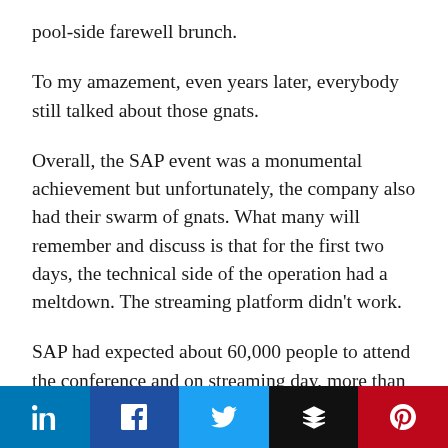pool-side farewell brunch.
To my amazement, even years later, everybody still talked about those gnats.
Overall, the SAP event was a monumental achievement but unfortunately, the company also had their swarm of gnats. What many will remember and discuss is that for the first two days, the technical side of the operation had a meltdown. The streaming platform didn’t work.
SAP had expected about 60,000 people to attend the conference and on streaming day, more than twice that many showed up.
[Figure (other): Social sharing bar with LinkedIn, Facebook, Twitter, Layers, and Pinterest buttons]